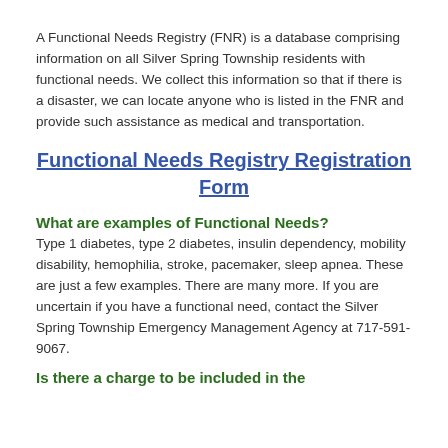A Functional Needs Registry (FNR) is a database comprising information on all Silver Spring Township residents with functional needs. We collect this information so that if there is a disaster, we can locate anyone who is listed in the FNR and provide such assistance as medical and transportation.
Functional Needs Registry Registration Form
What are examples of Functional Needs?
Type 1 diabetes, type 2 diabetes, insulin dependency, mobility disability, hemophilia, stroke, pacemaker, sleep apnea. These are just a few examples. There are many more. If you are uncertain if you have a functional need, contact the Silver Spring Township Emergency Management Agency at 717-591-9067.
Is there a charge to be included in the